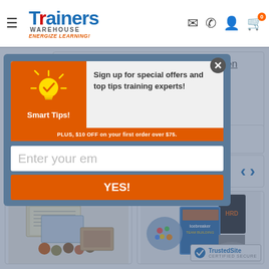[Figure (screenshot): Trainers Warehouse website header with logo, hamburger menu, and icons for email, phone, account, and cart showing 0 items]
the definitions and differences between Task-Process-Related discussions. [recording] 'talking points' on a flip-chart for future reference.
RECOMMENDED
YOU MAY ALSO LIKE
[Figure (photo): Product image showing training materials including cards and tokens]
[Figure (photo): Product image showing a training game set with colorful components]
[Figure (infographic): Popup modal with Smart Tips sign-up form: 'Sign up for special offers and top tips training experts!' with email input and YES button, and promo 'PLUS, $10 OFF on your first order over $75.']